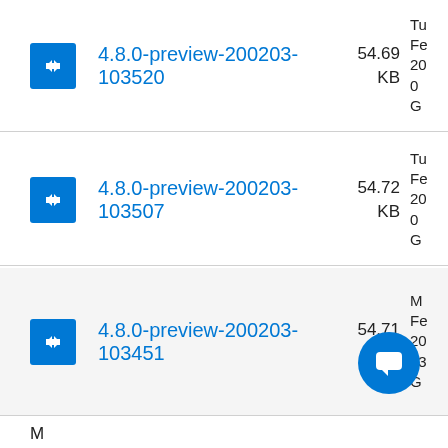4.8.0-preview-200203-103520, 54.69 KB
4.8.0-preview-200203-103507, 54.72 KB
4.8.0-preview-200203-103451, 54.71 KB